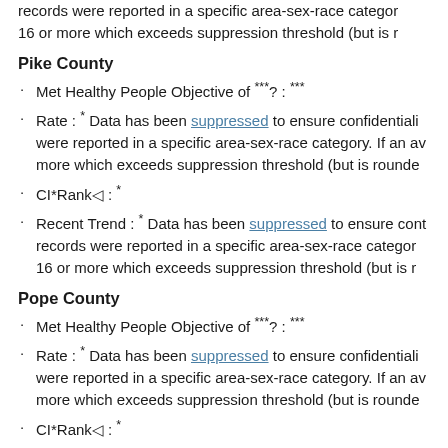records were reported in a specific area-sex-race category. 16 or more which exceeds suppression threshold (but is r...
Pike County
Met Healthy People Objective of ***?: ***
Rate : * Data has been suppressed to ensure confidentiality were reported in a specific area-sex-race category. If an av more which exceeds suppression threshold (but is rounde...
CI*Rank⋄ : *
Recent Trend : * Data has been suppressed to ensure cont records were reported in a specific area-sex-race category. 16 or more which exceeds suppression threshold (but is r...
Pope County
Met Healthy People Objective of ***?: ***
Rate : * Data has been suppressed to ensure confidentiality were reported in a specific area-sex-race category. If an av more which exceeds suppression threshold (but is rounde...
CI*Rank⋄ : *
Recent Trend : * Data has been suppressed to ensure cont records were reported in a specific area-sex-race category. 16 or more which exceeds suppression threshold (but is r...